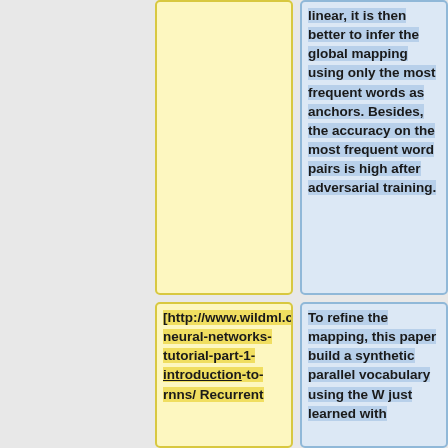linear, it is then better to infer the global mapping using only the most frequent words as anchors. Besides, the accuracy on the most frequent word pairs is high after adversarial training.
[http://www.wildml.com/2015/09/recurrent-neural-networks-tutorial-part-1-introduction-to-rnns/ Recurrent
To refine the mapping, this paper build a synthetic parallel vocabulary using the W just learned with